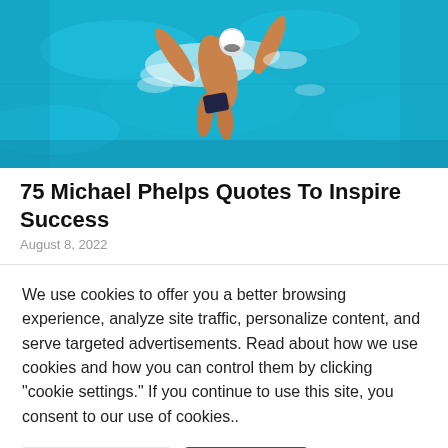[Figure (photo): Aerial view of a swimmer doing freestyle/butterfly stroke in a bright turquoise blue swimming pool, wearing a white cap, viewed from above]
75 Michael Phelps Quotes To Inspire Success
August 8, 2022
We use cookies to offer you a better browsing experience, analyze site traffic, personalize content, and serve targeted advertisements. Read about how we use cookies and how you can control them by clicking "cookie settings." If you continue to use this site, you consent to our use of cookies..
Cookie Settings
Accept All